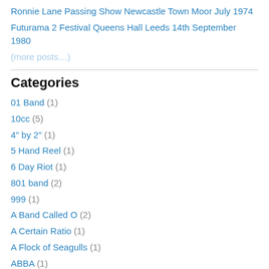Ronnie Lane Passing Show Newcastle Town Moor July 1974
Futurama 2 Festival Queens Hall Leeds 14th September 1980
(faded/partially visible link)
Categories
01 Band (1)
10cc (5)
4" by 2" (1)
5 Hand Reel (1)
6 Day Riot (1)
801 band (2)
999 (1)
A Band Called O (2)
A Certain Ratio (1)
A Flock of Seagulls (1)
ABBA (1)
ABC (1)
AC/DC (10)
Accept (1)